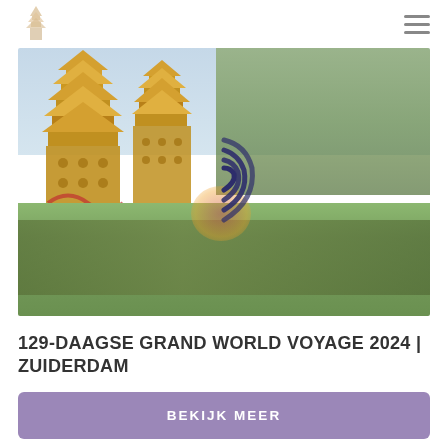[Figure (photo): Photograph of two ornate Asian pagodas reflected in a pond with lily pads and water plants in the foreground, and green trees in the background. A loading spinner icon is visible in the center of the image.]
129-DAAGSE GRAND WORLD VOYAGE 2024 | ZUIDERDAM
BEKIJK MEER